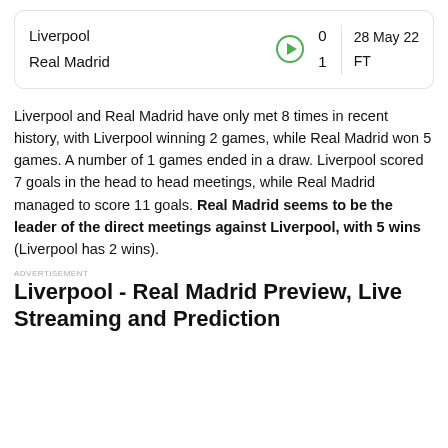| Team | Score | Date | Status |
| --- | --- | --- | --- |
| Liverpool | 0 | 28 May 22 |  |
| Real Madrid | 1 |  | FT |
Liverpool and Real Madrid have only met 8 times in recent history, with Liverpool winning 2 games, while Real Madrid won 5 games. A number of 1 games ended in a draw. Liverpool scored 7 goals in the head to head meetings, while Real Madrid managed to score 11 goals. Real Madrid seems to be the leader of the direct meetings against Liverpool, with 5 wins (Liverpool has 2 wins).
ADVERTISEMENT
Liverpool - Real Madrid Preview, Live Streaming and Prediction